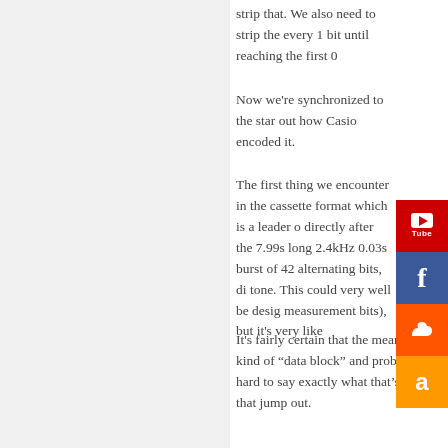strip that. We also need to strip the every 1 bit until reaching the first 0
Now we're synchronized to the star out how Casio encoded it.
The first thing we encounter in the cassette format which is a leader o directly after the 7.99s long 2.4kHz 0.03s burst of 42 alternating bits, d tone. This could very well be desig measurement bits), but it's very like
It's fairly certain that the meaningfu kind of "data block" and probably w hard to say exactly what that's goin that jump out.
One of the most conspicuous is a r the (somewhat unusual) idea of a 9 11111111 which is 255 in decimal